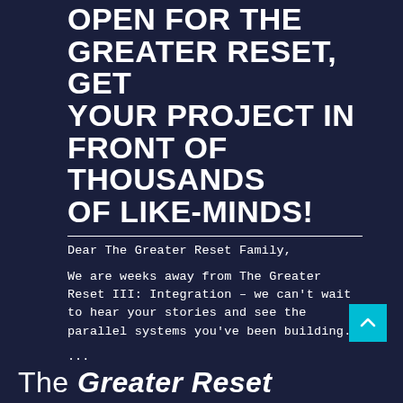OPEN FOR THE GREATER RESET, GET YOUR PROJECT IN FRONT OF THOUSANDS OF LIKE-MINDS!
Dear The Greater Reset Family,
We are weeks away from The Greater Reset III: Integration – we can't wait to hear your stories and see the parallel systems you've been building.
...
[Figure (illustration): Cyan/teal scroll-to-top button with upward arrow chevron icon, positioned at bottom right]
The Greater Reset